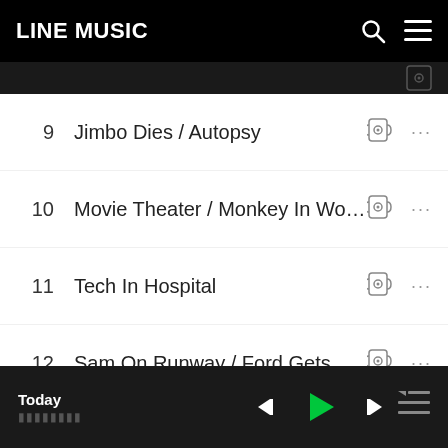LINE MUSIC
9  Jimbo Dies / Autopsy
10  Movie Theater / Monkey In Woods
11  Tech In Hospital
12  Sam On Runway / Ford Gets An...
13  Military Arrives
Today